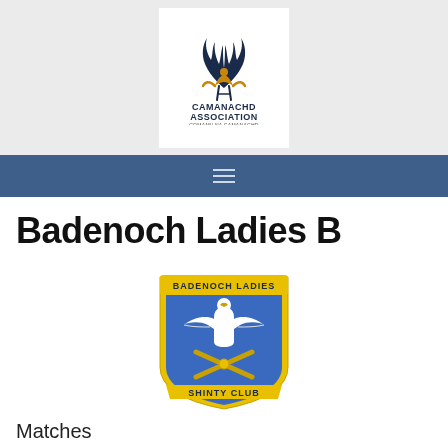[Figure (logo): Camanachd Association logo — antler/figure emblem above text CAMANACHD ASSOCIATION COMANN NA CAMANACHD on white background, set within a gray header banner]
[Figure (logo): Badenoch Ladies Shinty Club shield crest — blue shield with white eagle and crossed shinty sticks, yellow banners reading BADENOCH LADIES and SHINTY CLUB]
Badenoch Ladies B
Matches